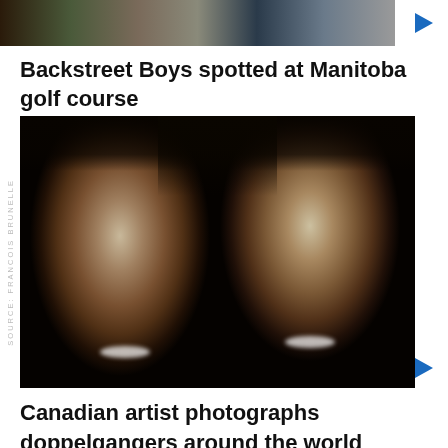[Figure (photo): Cropped strip of a group photo showing partial figures standing side by side in various colored outfits, black and white or color]
Backstreet Boys spotted at Manitoba golf course
[Figure (photo): Black and white portrait photograph of two young Black women smiling, cheek to cheek. Source: François Brunelle]
Canadian artist photographs doppelgangers around the world